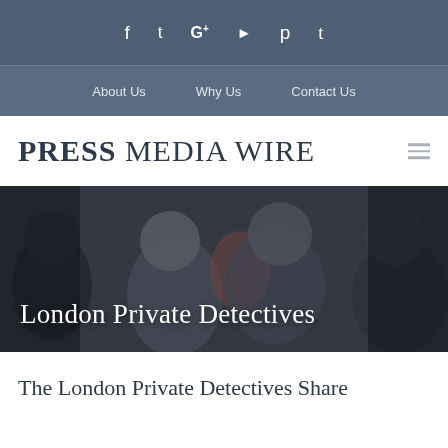f  t  G+  ▶  p  t (social icons)
About Us   Why Us   Contact Us
PRESS MEDIA WIRE
[Figure (photo): Group of people looking at something together, overlaid with dark tint. Text overlay reads: London Private Detectives]
The London Private Detectives Share